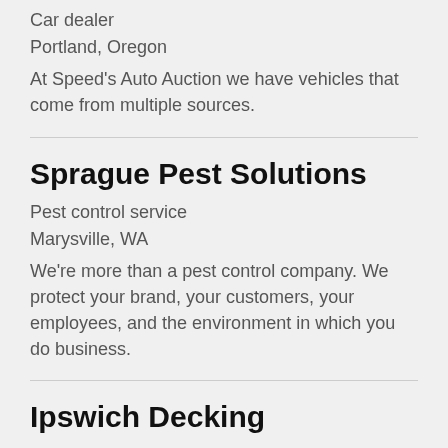Car dealer
Portland, Oregon
At Speed's Auto Auction we have vehicles that come from multiple sources.
Sprague Pest Solutions
Pest control service
Marysville, WA
We're more than a pest control company. We protect your brand, your customers, your employees, and the environment in which you do business.
Ipswich Decking